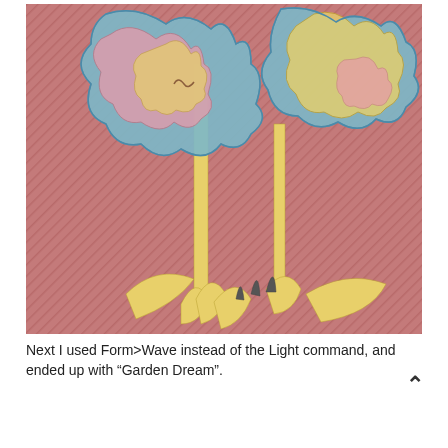[Figure (illustration): A stylized pop-art illustration of flowers with large blooms in blue, pink, and yellow tones against a reddish-pink diagonally-striped background. The image shows two large abstract flower heads on yellow stems with yellow leaves at the base, rendered in flat graphic style.]
Next I used Form>Wave instead of the Light command, and ended up with “Garden Dream”.